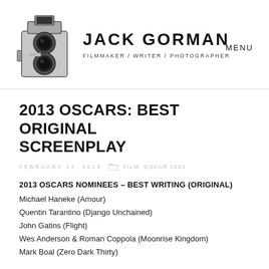[Figure (photo): Black and white photo of a vintage twin-lens reflex camera (Rolleiflex style)]
JACK GORMAN
FILMMAKER / WRITER / PHOTOGRAPHER
MENU
2013 OSCARS: BEST ORIGINAL SCREENPLAY
FEBRUARY 17, 2013   FILM, OSCAR 2013
2013 OSCARS NOMINEES – BEST WRITING (ORIGINAL)
Michael Haneke (Amour)
Quentin Tarantino (Django Unchained)
John Gatins (Flight)
Wes Anderson & Roman Coppola (Moonrise Kingdom)
Mark Boal (Zero Dark Thirty)